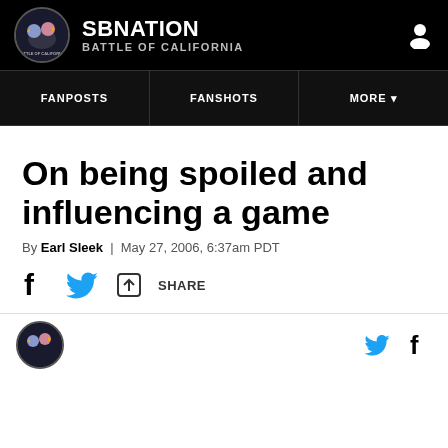SBNATION BATTLE OF CALIFORNIA
FANPOSTS | FANSHOTS | MORE
On being spoiled and influencing a game
By Earl Sleek | May 27, 2006, 6:37am PDT
SHARE
[Figure (logo): SBNation Battle of California logo circle in footer]